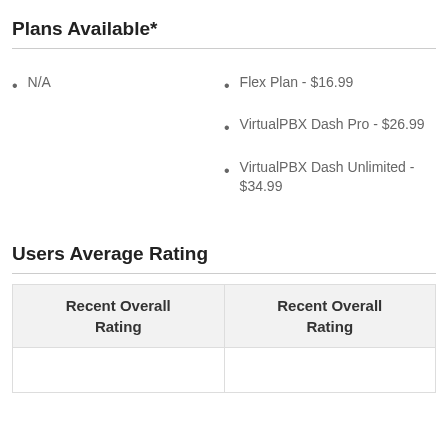Plans Available*
N/A
Flex Plan - $16.99
VirtualPBX Dash Pro - $26.99
VirtualPBX Dash Unlimited - $34.99
Users Average Rating
| Recent Overall Rating | Recent Overall Rating |
| --- | --- |
|  |  |